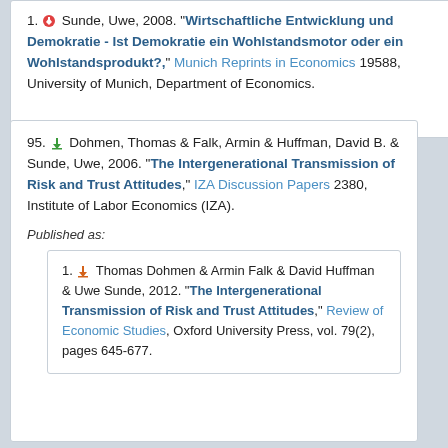1. Sunde, Uwe, 2008. "Wirtschaftliche Entwicklung und Demokratie - Ist Demokratie ein Wohlstandsmotor oder ein Wohlstandsprodukt?," Munich Reprints in Economics 19588, University of Munich, Department of Economics.
95. Dohmen, Thomas & Falk, Armin & Huffman, David B. & Sunde, Uwe, 2006. "The Intergenerational Transmission of Risk and Trust Attitudes," IZA Discussion Papers 2380, Institute of Labor Economics (IZA).
Published as:
1. Thomas Dohmen & Armin Falk & David Huffman & Uwe Sunde, 2012. "The Intergenerational Transmission of Risk and Trust Attitudes," Review of Economic Studies, Oxford University Press, vol. 79(2), pages 645-677.